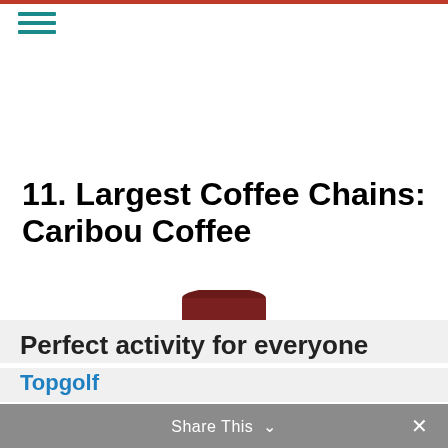11. Largest Coffee Chains: Caribou Coffee
[Figure (photo): Partial view of a dark red/maroon coffee cup at the bottom of the content area]
Perfect activity for everyone
Topgolf
Share This ∨  ×